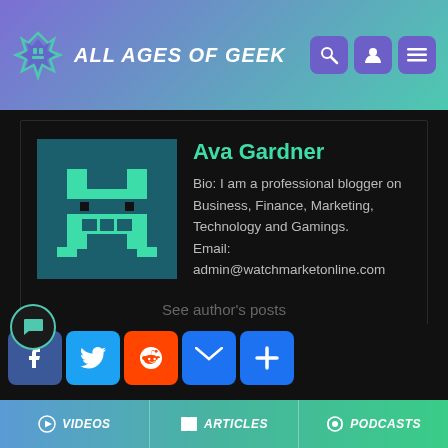ALL AGES OF GEEK
[Figure (screenshot): Author profile card for Ava Gardner on All Ages of Geek website, with avatar, bio, email, see author's posts link, archive icon, social sharing buttons, and bottom navigation bar]
Ava Gardner
Bio: I am a professional blogger on Business, Finance, Marketing, Technology and Gamings. Email: admin@watchmarketonline.com
See author's posts
VIDEOS  ARTICLES  PODCASTS